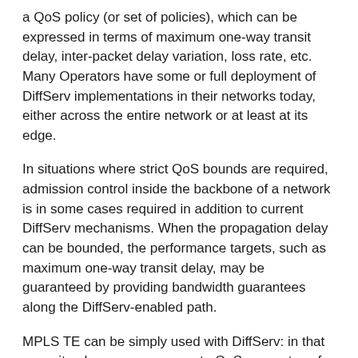a QoS policy (or set of policies), which can be expressed in terms of maximum one-way transit delay, inter-packet delay variation, loss rate, etc. Many Operators have some or full deployment of DiffServ implementations in their networks today, either across the entire network or at least at its edge.
In situations where strict QoS bounds are required, admission control inside the backbone of a network is in some cases required in addition to current DiffServ mechanisms. When the propagation delay can be bounded, the performance targets, such as maximum one-way transit delay, may be guaranteed by providing bandwidth guarantees along the DiffServ-enabled path.
MPLS TE can be simply used with DiffServ: in that case, it only ensures aggregate QoS guarantees for the whole traffic. It can also be more intimately combined with DiffServ to perform per-class of service admission control and resource reservation. This requires extensions to MPLS TE called DiffServ-Aware TE, which are defined in [DSTE-PROTO]. DS-TE allows ensuring strict end-to-end QoS